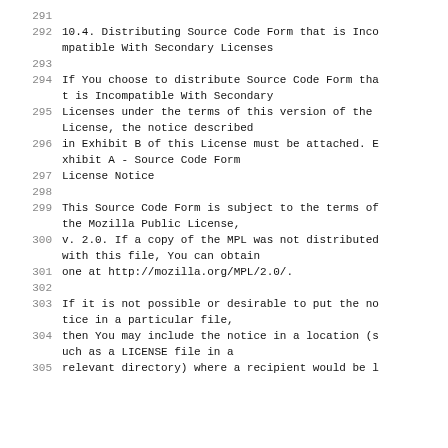291
292  10.4. Distributing Source Code Form that is Incompatible With Secondary Licenses
293
294  If You choose to distribute Source Code Form that is Incompatible With Secondary
295  Licenses under the terms of this version of the License, the notice described
296  in Exhibit B of this License must be attached. Exhibit A - Source Code Form
297  License Notice
298
299  This Source Code Form is subject to the terms of the Mozilla Public License,
300  v. 2.0. If a copy of the MPL was not distributed with this file, You can obtain
301  one at http://mozilla.org/MPL/2.0/.
302
303  If it is not possible or desirable to put the notice in a particular file,
304  then You may include the notice in a location (such as a LICENSE file in a
305  relevant directory) where a recipient would be l